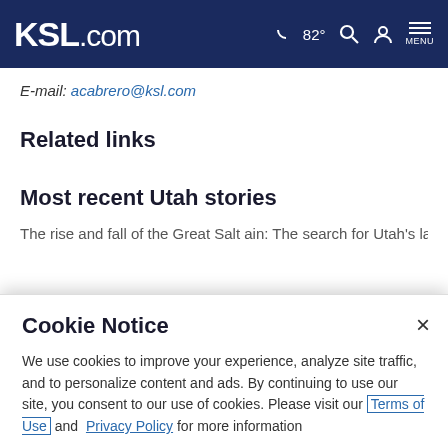KSL.com | 82° MENU
E-mail: acabrero@ksl.com
Related links
Most recent Utah stories
The rise and fall of the Great Salt...The search for Utah's last...
Cookie Notice
We use cookies to improve your experience, analyze site traffic, and to personalize content and ads. By continuing to use our site, you consent to our use of cookies. Please visit our Terms of Use and Privacy Policy for more information